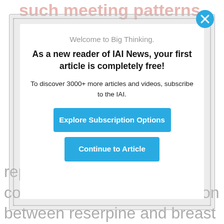such meeting patterns.
Welcome to Big Thinking.
As a new reader of IAI News, your first article is completely free!
To discover 3000+ more articles and videos, subscribe to the IAI.
Explore Subscription Options
Continue to Article
replicate the 1974 report concluded that the association between reserpine and breast